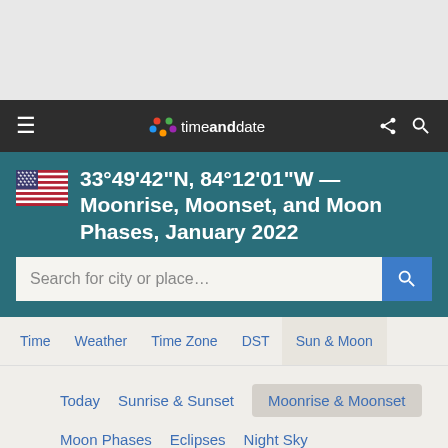[Figure (screenshot): Grey advertisement area at the top of the page]
timeanddate — navigation bar with hamburger menu, logo, share and search icons
33°49'42"N, 84°12'01"W — Moonrise, Moonset, and Moon Phases, January 2022
Search for city or place...
Time | Weather | Time Zone | DST | Sun & Moon
Today | Sunrise & Sunset | Moonrise & Moonset | Moon Phases | Eclipses | Night Sky